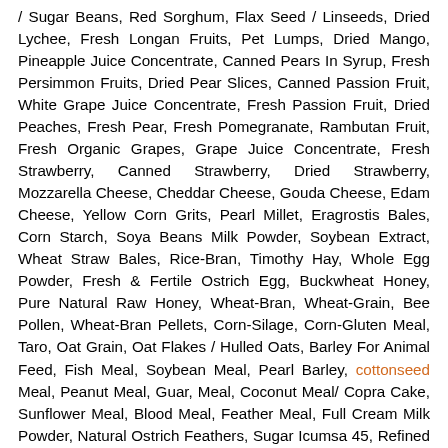/ Sugar Beans, Red Sorghum, Flax Seed / Linseeds, Dried Lychee, Fresh Longan Fruits, Pet Lumps, Dried Mango, Pineapple Juice Concentrate, Canned Pears In Syrup, Fresh Persimmon Fruits, Dried Pear Slices, Canned Passion Fruit, White Grape Juice Concentrate, Fresh Passion Fruit, Dried Peaches, Fresh Pear, Fresh Pomegranate, Rambutan Fruit, Fresh Organic Grapes, Grape Juice Concentrate, Fresh Strawberry, Canned Strawberry, Dried Strawberry, Mozzarella Cheese, Cheddar Cheese, Gouda Cheese, Edam Cheese, Yellow Corn Grits, Pearl Millet, Eragrostis Bales, Corn Starch, Soya Beans Milk Powder, Soybean Extract, Wheat Straw Bales, Rice-Bran, Timothy Hay, Whole Egg Powder, Fresh & Fertile Ostrich Egg, Buckwheat Honey, Pure Natural Raw Honey, Wheat-Bran, Wheat-Grain, Bee Pollen, Wheat-Bran Pellets, Corn-Silage, Corn-Gluten Meal, Taro, Oat Grain, Oat Flakes / Hulled Oats, Barley For Animal Feed, Fish Meal, Soybean Meal, Pearl Barley, cottonseed Meal, Peanut Meal, Guar, Meal, Coconut Meal/ Copra Cake, Sunflower Meal, Blood Meal, Feather Meal, Full Cream Milk Powder, Natural Ostrich Feathers, Sugar Icumsa 45, Refined Rapeseed Oil, Himalayan Pink Salt, Raw Brown Sugar, Peanut Butter, Ice Cream Powder, Yellow Unsalted Butter, Natural Pure Cow Butter Milk Ghee, Skimmed Milk Powder, Rape Seeds, Castor Seed, Cotton Seeds, Palm Fatty Acids Oil, Soybean Fatty Acid, Edible & Inedible Beef